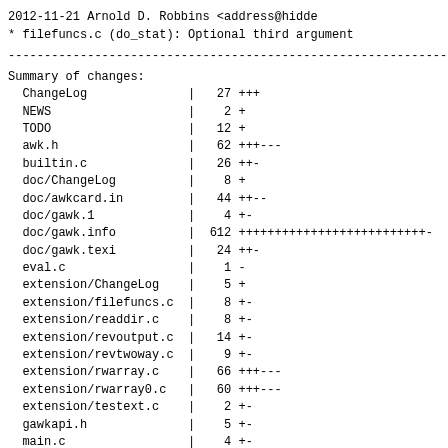2012-11-21    Arnold D. Robbins    <address@hidden>
* filefuncs.c (do_stat): Optional third argument
------------------------------------------------------------------------
Summary of changes:
  ChangeLog              |   27 +++
  NEWS                   |    2 +
  TODO                   |   12 +
  awk.h                  |   62 +++---
  builtin.c              |   26 ++-
  doc/ChangeLog          |    8 +
  doc/awkcard.in         |   44 ++--
  doc/gawk.1             |    4 +-
  doc/gawk.info          |  612 ++++++++++++++++++++++++++-
  doc/gawk.texi          |   24 ++-
  eval.c                 |    1 -
  extension/ChangeLog    |    5 +
  extension/filefuncs.c  |    8 +-
  extension/readdir.c    |    8 +-
  extension/revoutput.c  |   14 +-
  extension/revtwoway.c  |    9 +-
  extension/rwarray.c    |   66 +++---
  extension/rwarray0.c   |   60 +++---
  extension/testext.c    |    2 +-
  gawkapi.h              |    5 +-
  main.c                 |    4 +-
  node.c                 |   15 --
  regcomp.c              |   15 +-